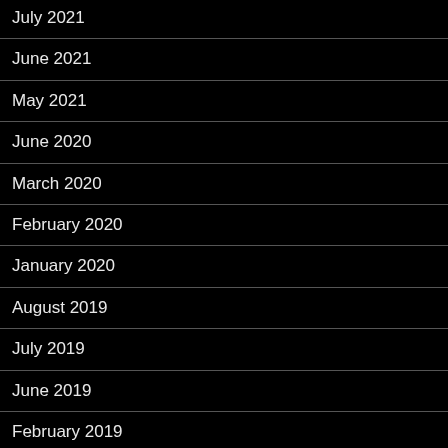July 2021
June 2021
May 2021
June 2020
March 2020
February 2020
January 2020
August 2019
July 2019
June 2019
February 2019
January 2019
December 2018